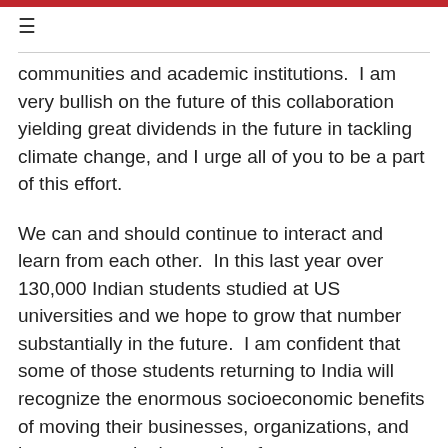communities and academic institutions.  I am very bullish on the future of this collaboration yielding great dividends in the future in tackling climate change, and I urge all of you to be a part of this effort.
We can and should continue to interact and learn from each other.  In this last year over 130,000 Indian students studied at US universities and we hope to grow that number substantially in the future.  I am confident that some of those students returning to India will recognize the enormous socioeconomic benefits of moving their businesses, organizations, and homes toward a low-carbon future.
Because of the strong people-to-people ties between our